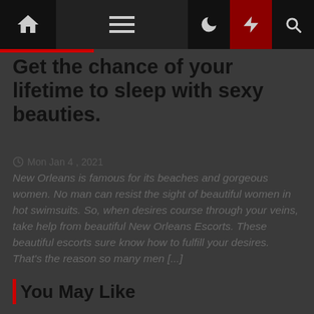Navigation bar with home, menu, moon, lightning, and search icons
Get the chance of your lifetime to sleep with sexy beauties.
©Mon Jan 4 , 2021
New Orleans is famous for its beaches and gorgeous women. No man can resist the sight of beautiful women in hot swimsuits. So, when desires course through your veins, take help from beautiful New Orleans Escorts. These beautiful escorts sure know how to fulfill your desires. That's the reason so many men [...]
You May Like